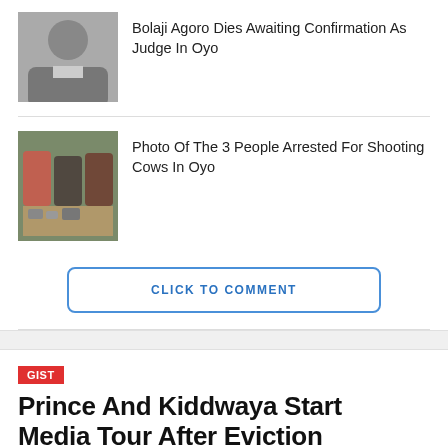[Figure (photo): Headshot of Bolaji Agoro in judge/legal attire]
Bolaji Agoro Dies Awaiting Confirmation As Judge In Oyo
[Figure (photo): Photo of 3 people arrested for shooting cows in Oyo, items on table in front]
Photo Of The 3 People Arrested For Shooting Cows In Oyo
CLICK TO COMMENT
GIST
Prince And Kiddwaya Start Media Tour After Eviction